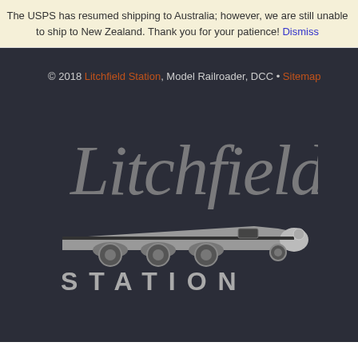The USPS has resumed shipping to Australia; however, we are still unable to ship to New Zealand. Thank you for your patience! Dismiss
© 2018 Litchfield Station, Model Railroader, DCC • Sitemap
[Figure (logo): Litchfield Station logo — stylized cursive 'Litchfield' text above a streamlined train locomotive graphic, with 'STATION' in spaced capital letters below, all in grey tones on dark background]